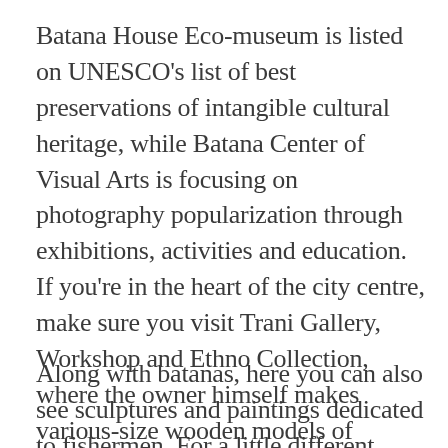Batana House Eco-museum is listed on UNESCO's list of best preservations of intangible cultural heritage, while Batana Center of Visual Arts is focusing on photography popularization through exhibitions, activities and education. If you're in the heart of the city centre, make sure you visit Trani Gallery, Workshop and Ethno Collection, where the owner himself makes various-size wooden models of batanas.
Along with batanas, here you can also see sculptures and paintings dedicated to fishermen. For a little different